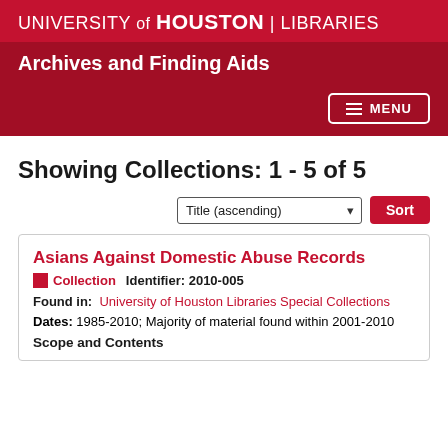UNIVERSITY of HOUSTON | LIBRARIES
Archives and Finding Aids
Showing Collections: 1 - 5 of 5
Asians Against Domestic Abuse Records
Collection   Identifier: 2010-005
Found in: University of Houston Libraries Special Collections
Dates: 1985-2010; Majority of material found within 2001-2010
Scope and Contents